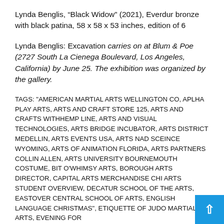Lynda Benglis, “Black Widow” (2021), Everdur bronze with black patina, 58 x 58 x 53 inches, edition of 6
Lynda Benglis: Excavation carries on at Blum & Poe (2727 South La Cienega Boulevard, Los Angeles, California) by June 25. The exhibition was organized by the gallery.
TAGS: "AMERICAN MARTIAL ARTS WELLINGTON CO, APLHA PLAY ARTS, ARTS AND CRAFT STORE 125, ARTS AND CRAFTS WITHHEMP LINE, ARTS AND VISUAL TECHNOLOGIES, ARTS BRIDGE INCUBATOR, ARTS DISTRICT MEDELLIN, ARTS EVENTS USA, ARTS NAD SCEINCE WYOMING, ARTS OF ANIMATION FLORIDA, ARTS PARTNERS COLLIN ALLEN, ARTS UNIVERSITY BOURNEMOUTH COSTUME, BIT O'WHIMSY ARTS, BOROUGH ARTS DIRECTOR, CAPITAL ARTS MERCHANDISE, CHI ARTS STUDENT OVERVIEW, DECATUR SCHOOL OF THE ARTS, EASTOVER CENTRAL SCHOOL OF ARTS, ENGLISH LANGUAGE CHRISTMAS", ETIQUETTE OF JUDO MARTIAL ARTS, EVENING FOR